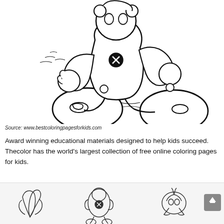[Figure (illustration): Black and white coloring page illustration of a cartoon robot or character sitting on the ground, with large round feet, mechanical arms, and an X-marked button on its chest, surrounded by small wave/water lines suggesting sand or water.]
Source: www.bestcoloringpagesforkids.com
Award winning educational materials designed to help kids succeed. Thecolor has the world's largest collection of free online coloring pages for kids.
[Figure (illustration): Three small black and white coloring page thumbnail illustrations at the bottom of the page showing various cartoon characters or creatures.]